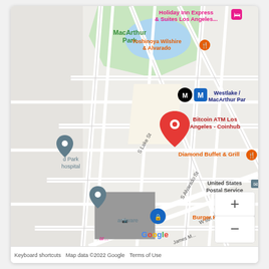[Figure (map): Google Maps screenshot showing the area around MacArthur Park in Los Angeles. The map shows streets including S Lake St, S Alvarado St, and W 8th St. Points of interest labeled include: Holiday Inn Express & Suites Los Angeles, Yoshinoya Wilshire & Alvarado, MacArthur Park (green area with blue lake), Westlake/MacArthur Park metro station (M logo), Bitcoin ATM Los Angeles - Coinhub (red pin), Diamond Buffet & Grill, United States Postal Service, Burger King, a hardware store, and a hospital. Zoom controls (+/-) visible at bottom right.]
Keyboard shortcuts   Map data ©2022 Google   Terms of Use